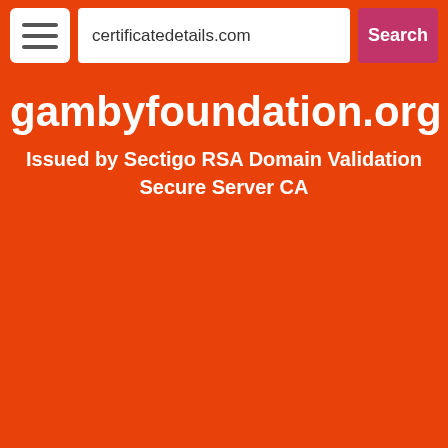[Figure (screenshot): Navigation bar with hamburger menu icon, search input showing 'certificatedetails.com', and a pink Search button]
gambyfoundation.org
Issued by Sectigo RSA Domain Validation Secure Server CA